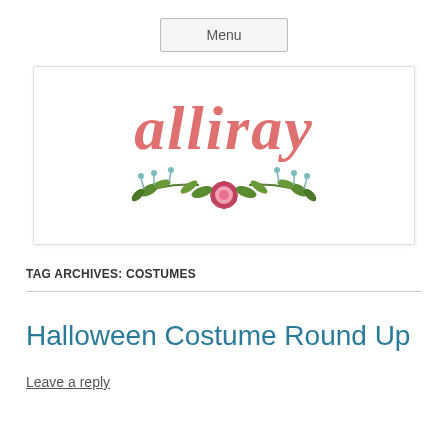Menu
[Figure (logo): alliray blog logo with pink script text and floral decoration (green leaves and a pink flower)]
TAG ARCHIVES: COSTUMES
Halloween Costume Round Up
Leave a reply